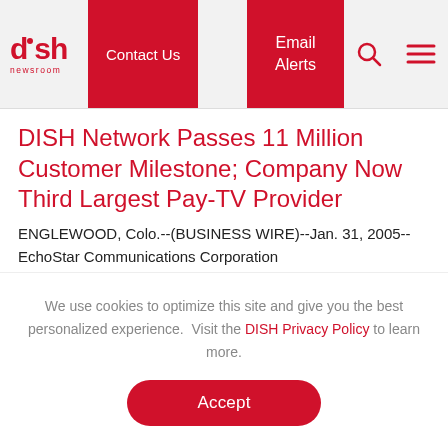DISH newsroom | Contact Us | Email Alerts
DISH Network Passes 11 Million Customer Milestone; Company Now Third Largest Pay-TV Provider
ENGLEWOOD, Colo.--(BUSINESS WIRE)--Jan. 31, 2005--EchoStar Communications Corporation
We use cookies to optimize this site and give you the best personalized experience.  Visit the DISH Privacy Policy to learn more.
Accept